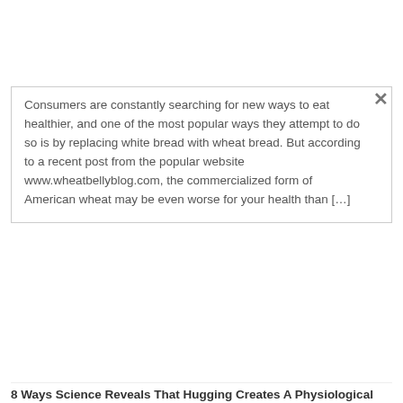Consumers are constantly searching for new ways to eat healthier, and one of the most popular ways they attempt to do so is by replacing white bread with wheat bread. But according to a recent post from the popular website www.wheatbellyblog.com, the commercialized form of American wheat may be even worse for your health than […]
8 Ways Science Reveals That Hugging Creates A Physiological